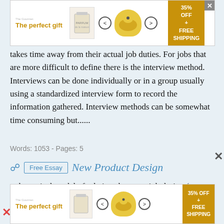[Figure (other): Advertisement banner showing 'The perfect gift' with product images, navigation arrows, and '35% OFF FREE SHIPPING' badge]
takes time away from their actual job duties. For jobs that are more difficult to define there is the interview method. Interviews can be done individually or in a group usually using a standardized interview form to record the information gathered. Interview methods can be somewhat time consuming but......
Words: 1053 - Pages: 5
New Product Design
...theoretical model of relations between job design (eg: completeness, demand of responsibility, demand of cooperation, cognitive demand, and learning opportunities) and the reflexivity and learning process within natural group works in industry. The
[Figure (other): Bottom advertisement banner showing 'The perfect gift' with product images, navigation arrows, and '35% OFF FREE SHIPPING' badge]